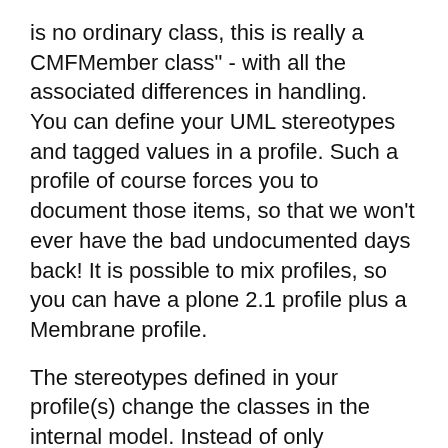is no ordinary class, this is really a CMFMember class" - with all the associated differences in handling.
You can define your UML stereotypes and tagged values in a profile. Such a profile of course forces you to document those items, so that we won't ever have the bad undocumented days back! It is possible to mix profiles, so you can have a plone 2.1 profile plus a Membrane profile.
The stereotypes defined in your profile(s) change the classes in the internal model. Instead of only providing an IGenericClass interface, they now also provide, say, a ICMFMemberClass interface. This will be used by the subsequent generator step.
Did I mention that you can make your own